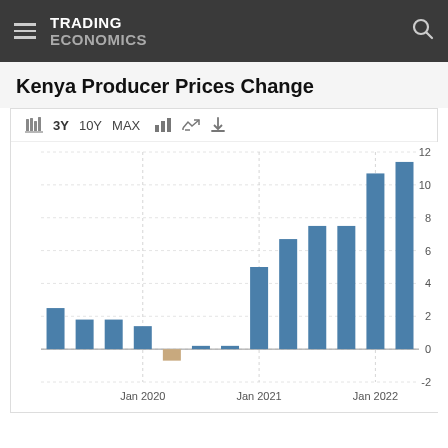TRADING ECONOMICS
Kenya Producer Prices Change
[Figure (bar-chart): Kenya Producer Prices Change]